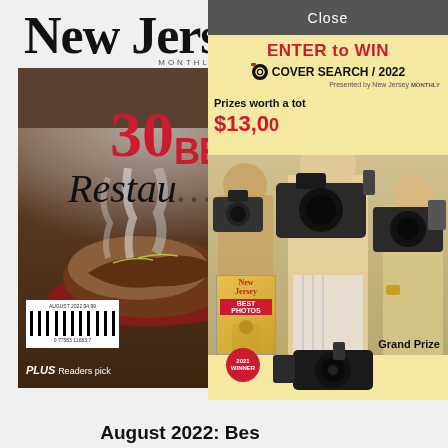[Figure (photo): New Jersey Monthly magazine cover for August 2022 featuring '30 Best Restaurants' with a food photo and smoke imagery. Partially overlapped by a popup showing 'ENTER to WIN COVER SEARCH/2022' contest with photographers holding cameras and prize information of $13,000. A small New Jersey magazine thumbnail is shown with a 2021 WINNER badge.]
August 2022: Bes...